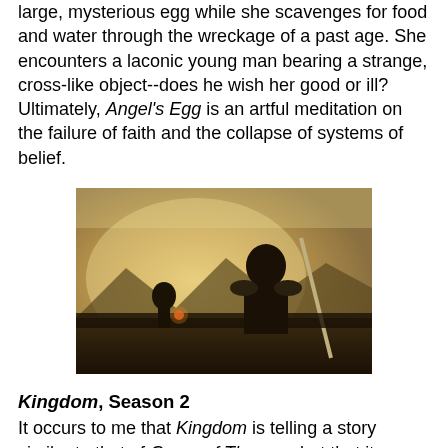large, mysterious egg while she scavenges for food and water through the wreckage of a past age. She encounters a laconic young man bearing a strange, cross-like object--does he wish her good or ill? Ultimately, Angel's Egg is an artful meditation on the failure of faith and the collapse of systems of belief.
[Figure (photo): Scene from Kingdom Season 2 showing armored warriors in dark silhouette against a bright, hazy sky with mountains in the background.]
Kingdom, Season 2
It occurs to me that Kingdom is telling a story similar to that of Game of Thrones, but that it greatly benefits from keeping focus on the main elements--hordes of undead threatening civilization and nobles